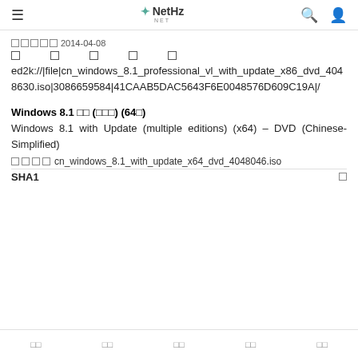≡   NetHz NET   🔍  👤
□□□□□2014-04-08
□  □  □  □  □
ed2k://|file|cn_windows_8.1_professional_vl_with_update_x86_dvd_4048630.iso|3086659584|41CAAB5DAC5643F6E0048576D609C19A|/
Windows 8.1 □□ (□□□) (64□)
Windows 8.1 with Update (multiple editions) (x64) – DVD (Chinese-Simplified)
□□□□cn_windows_8.1_with_update_x64_dvd_4048046.iso
SHA1  □
□□  □□  □□  □□  □□